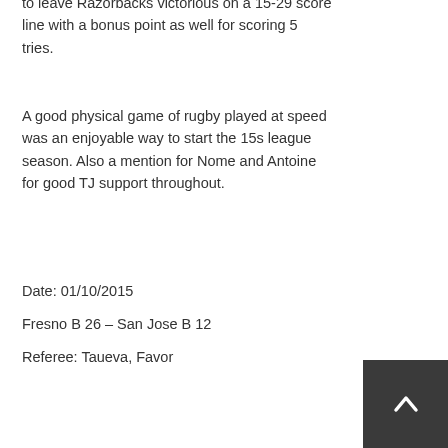to leave Razorbacks victorious on a 15-29 score line with a bonus point as well for scoring 5 tries.
A good physical game of rugby played at speed was an enjoyable way to start the 15s league season. Also a mention for Nome and Antoine for good TJ support throughout.
Date: 01/10/2015
Fresno B 26 – San Jose B 12
Referee: Taueva, Favor